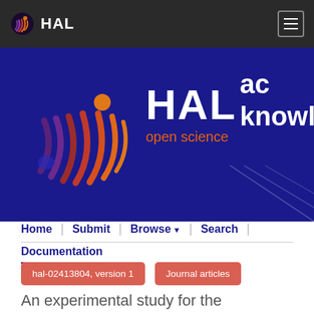HAL
[Figure (logo): HAL open science logo with colorful wave-stripe sphere on dark blue background hero banner with text 'ac...' and 'knowl...']
Home | Submit | Browse | Search |
Documentation
hal-02413804, version 1
Journal articles
An experimental study for the